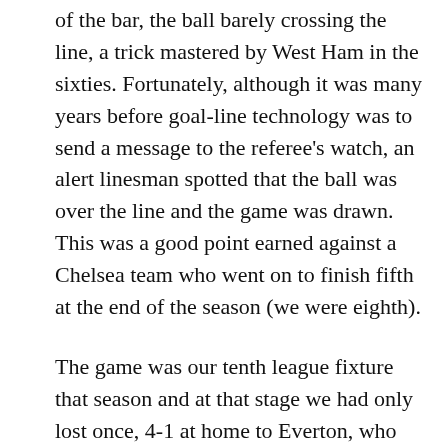of the bar, the ball barely crossing the line, a trick mastered by West Ham in the sixties. Fortunately, although it was many years before goal-line technology was to send a message to the referee's watch, an alert linesman spotted that the ball was over the line and the game was drawn. This was a good point earned against a Chelsea team who went on to finish fifth at the end of the season (we were eighth).
The game was our tenth league fixture that season and at that stage we had only lost once, 4-1 at home to Everton, who coincidentally are the only team we have actually beaten this season in a league game. The West Ham team that day was full of famous players who played